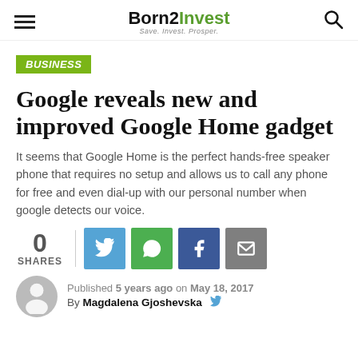Born2Invest — Save. Invest. Prosper.
BUSINESS
Google reveals new and improved Google Home gadget
It seems that Google Home is the perfect hands-free speaker phone that requires no setup and allows us to call any phone for free and even dial-up with our personal number when google detects our voice.
0 SHARES
Published 5 years ago on May 18, 2017 By Magdalena Gjoshevska